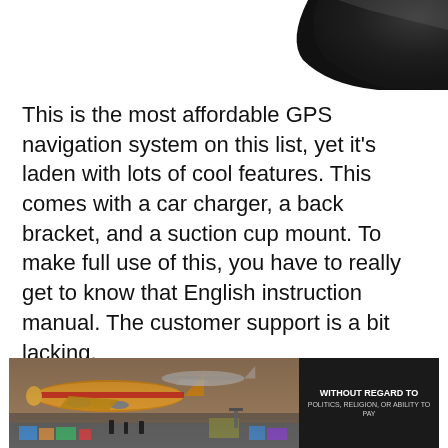[Figure (photo): Partial view of a black GPS navigation device, top-right corner of device visible against white background]
This is the most affordable GPS navigation system on this list, yet it's laden with lots of cool features. This comes with a car charger, a back bracket, and a suction cup mount. To make full use of this, you have to really get to know that English instruction manual. The customer support is a bit lacking.
However, once you do get it going using the manual, it offers very useful features to keep you from getting lost. It comes with free maps
[Figure (photo): Advertisement banner showing cargo airplanes being loaded with freight, with dark overlay panel on the right reading WITHOUT REGARD TO POLITICS, RELIGION, OR ABILITY TO PAY]